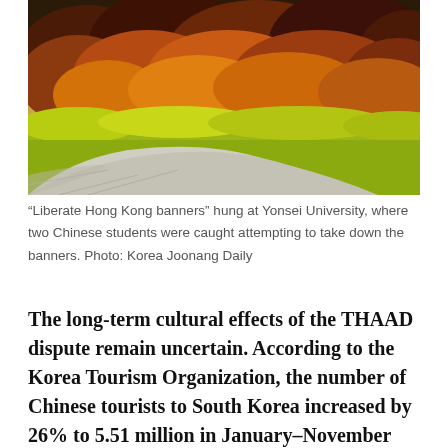[Figure (photo): Autumn foliage hedge and curved stone walkway path, likely at Yonsei University campus. Orange, red, and yellow leaves on dense bushes with green grass strip and a curved paved pathway in the foreground.]
“Liberate Hong Kong banners” hung at Yonsei University, where two Chinese students were caught attempting to take down the banners. Photo: Korea Joonang Daily
The long-term cultural effects of the THAAD dispute remain uncertain. According to the Korea Tourism Organization, the number of Chinese tourists to South Korea increased by 26% to 5.51 million in January–November 2019